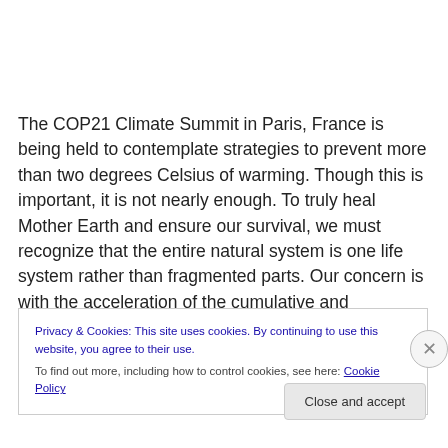The COP21 Climate Summit in Paris, France is being held to contemplate strategies to prevent more than two degrees Celsius of warming. Though this is important, it is not nearly enough. To truly heal Mother Earth and ensure our survival, we must recognize that the entire natural system is one life system rather than fragmented parts. Our concern is with the acceleration of the cumulative and
Privacy & Cookies: This site uses cookies. By continuing to use this website, you agree to their use.
To find out more, including how to control cookies, see here: Cookie Policy
Close and accept